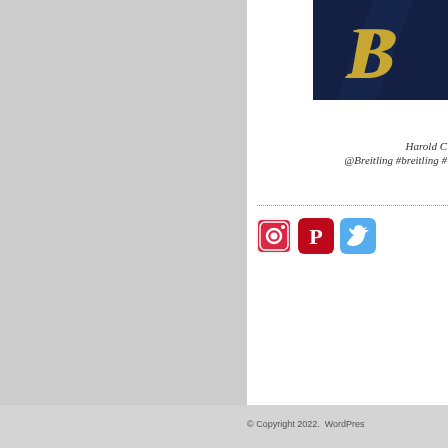[Figure (logo): Breitling logo: dark navy background with gold italic cursive B letter]
Harold C
@Breitling #breitling #
[Figure (other): Social media icons: Instagram, Pinterest, Twitter]
© Copyright 2022.  WordPres